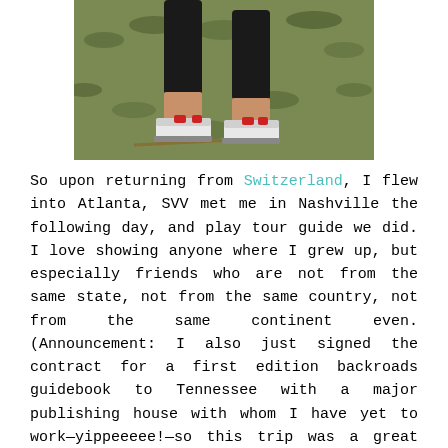[Figure (photo): Close-up photo of a person's legs wearing black capri leggings and white/red sneakers, walking or running on green grass.]
So upon returning from Switzerland, I flew into Atlanta, SVV met me in Nashville the following day, and play tour guide we did. I love showing anyone where I grew up, but especially friends who are not from the same state, not from the same country, not from the same continent even. (Announcement: I also just signed the contract for a first edition backroads guidebook to Tennessee with a major publishing house with whom I have yet to work—yippeeeee!—so this trip was a great starting point for my research.)